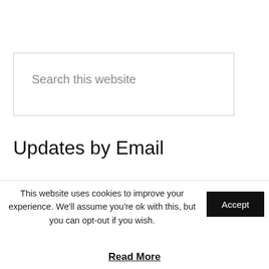Search this website
Updates by Email
Please complete this form to sign-up to receive my blog posts by email. You can unsubscribe at any time and your email address will not be used for any
This website uses cookies to improve your experience. We'll assume you're ok with this, but you can opt-out if you wish.
Accept
Read More